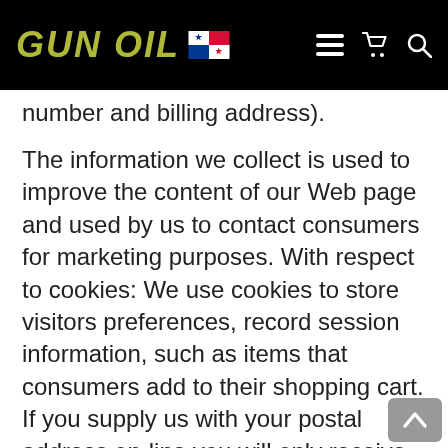GUN OIL [Panama flag] [hamburger menu] [cart] [search]
number and billing address).
The information we collect is used to improve the content of our Web page and used by us to contact consumers for marketing purposes. With respect to cookies: We use cookies to store visitors preferences, record session information, such as items that consumers add to their shopping cart. If you supply us with your postal address on-line you will only receive the information for which you provided